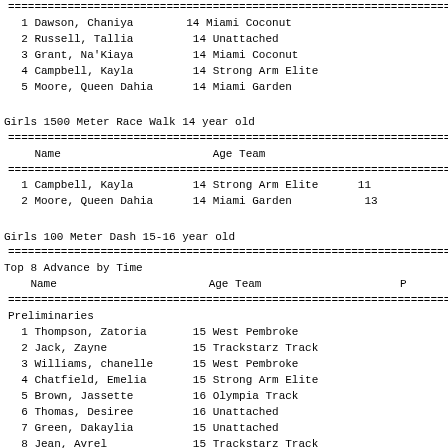| # | Name | Age | Team |
| --- | --- | --- | --- |
| 1 | Dawson, Chaniya | 14 | Miami Coconut |
| 2 | Russell, Tallia | 14 | Unattached |
| 3 | Grant, Na'Kiaya | 14 | Miami Coconut |
| 4 | Campbell, Kayla | 14 | Strong Arm Elite |
| 5 | Moore, Queen Dahia | 14 | Miami Garden |
Girls 1500 Meter Race Walk 14 year old
| Name | Age | Team |
| --- | --- | --- |
| 1 Campbell, Kayla | 14 | Strong Arm Elite | 11... |
| 2 Moore, Queen Dahia | 14 | Miami Garden | 13... |
Girls 100 Meter Dash 15-16 year old
Top 8 Advance by Time
| Name | Age | Team | P |
| --- | --- | --- | --- |
| Preliminaries |  |  |  |
| 1 Thompson, Zatoria | 15 | West Pembroke |  |
| 2 Jack, Zayne | 15 | Trackstarz Track |  |
| 3 Williams, chanelle | 15 | West Pembroke |  |
| 4 Chatfield, Emelia | 15 | Strong Arm Elite |  |
| 5 Brown, Jassette | 16 | Olympia Track |  |
| 6 Thomas, Desiree | 16 | Unattached |  |
| 7 Green, Dakaylia | 15 | Unattached |  |
| 8 Jean, Avrel | 15 | Trackstarz Track |  |
| 9 Turner, Amani | 15 | Strong Arm Elite |  |
| 10 Moore, Queen Tive | 16 | Miami Garden |  |